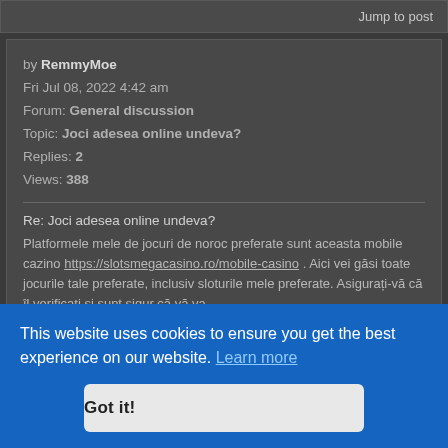Jump to post
by RemmyMoe
Fri Jul 08, 2022 4:42 am
Forum: General discussion
Topic: Joci adesea online undeva?
Replies: 2
Views: 388
Re: Joci adesea online undeva?
Platformele mele de jocuri de noroc preferate sunt aceasta mobile cazino https://slotsmegacasino.ro/mobile-casino . Aici vei găsi toate jocurile tale preferate, inclusiv sloturile mele preferate. Asigurați-vă că îl verificați și sunt sigur că vă va
Replies: 4
This website uses cookies to ensure you get the best experience on our website. Learn more
Got it!